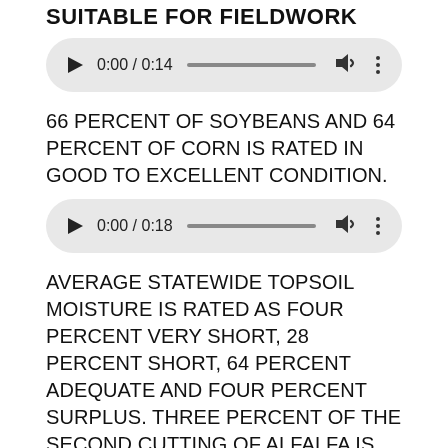SUITABLE FOR FIELDWORK
[Figure (other): Audio player showing 0:00 / 0:14 with play button, progress bar, volume icon, and more options icon]
66 PERCENT OF SOYBEANS AND 64 PERCENT OF CORN IS RATED IN GOOD TO EXCELLENT CONDITION.
[Figure (other): Audio player showing 0:00 / 0:18 with play button, progress bar, volume icon, and more options icon]
AVERAGE STATEWIDE TOPSOIL MOISTURE IS RATED AS FOUR PERCENT VERY SHORT, 28 PERCENT SHORT, 64 PERCENT ADEQUATE AND FOUR PERCENT SURPLUS. THREE PERCENT OF THE SECOND CUTTING OF ALFALFA IS NOW COMPLETE.